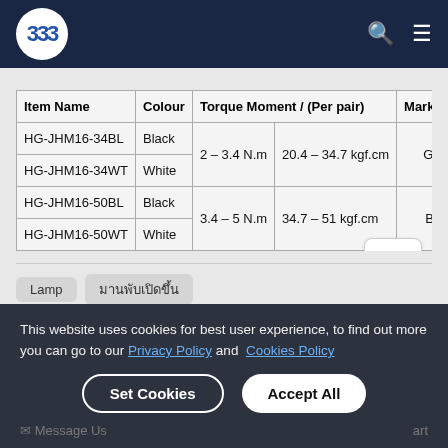BBB logo, search icon, menu icon
| Item Name | Colour | Torque Moment / (Per pair) |  | Marking Col |
| --- | --- | --- | --- | --- |
| HG-JHM16-34BL | Black | 2 – 3.4 N.m | 20.4 – 34.7 kgf.cm | Green |
| HG-JHM16-34WT | White | 2 – 3.4 N.m | 20.4 – 34.7 kgf.cm | Green |
| HG-JHM16-50BL | Black | 3.4 – 5 N.m | 34.7 – 51 kgf.cm | Black |
| HG-JHM16-50WT | White | 3.4 – 5 N.m | 34.7 – 51 kgf.cm | Black |
Lamp
มานพับเปิดขึ้น
This website uses cookies for best user experience, to find out more you can go to our Privacy Policy and Cookies Policy
Set Cookies   Accept All